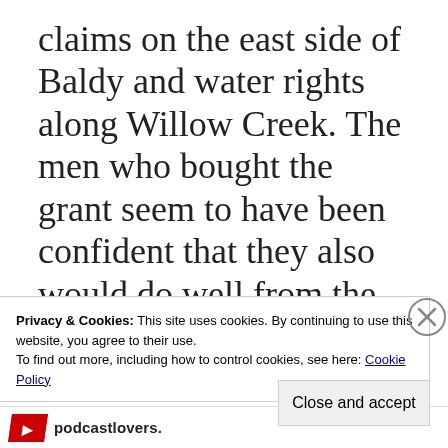claims on the east side of Baldy and water rights along Willow Creek. The men who bought the grant seem to have been confident that they also would do well from the gold and silver mines. However, things didn't pan out quite as they'd hoped. The Maxwell Land Grant and Railway Company was inl foul d...
Privacy & Cookies: This site uses cookies. By continuing to use this website, you agree to their use.
To find out more, including how to control cookies, see here: Cookie Policy
Close and accept
podcastlovers.